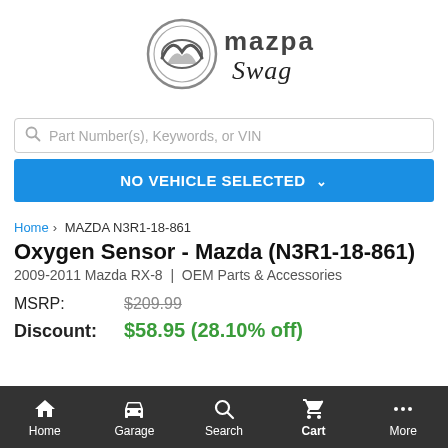[Figure (logo): Mazda Swag logo with Mazda emblem and stylized 'Mazda Swag' text]
Part Number(s), Keywords, or VIN
NO VEHICLE SELECTED
Home > MAZDA N3R1-18-861
Oxygen Sensor - Mazda (N3R1-18-861)
2009-2011 Mazda RX-8 | OEM Parts & Accessories
MSRP: $209.99
Discount: $58.95 (28.10% off)
Home  Garage  Search  Cart  More